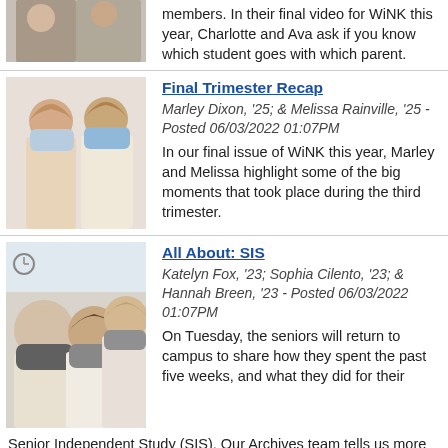[Figure (photo): Partial photo of two students at top of page]
members. In their final video for WiNK this year, Charlotte and Ava ask if you know which student goes with which parent.
[Figure (photo): Two masked students with long hair posing together]
Final Trimester Recap
Marley Dixon, '25; & Melissa Rainville, '25 - Posted 06/03/2022 01:07PM
In our final issue of WiNK this year, Marley and Melissa highlight some of the big moments that took place during the third trimester.
[Figure (photo): Three masked students taking a selfie]
All About: SIS
Katelyn Fox, '23; Sophia Cilento, '23; & Hannah Breen, '23 - Posted 06/03/2022 01:07PM
On Tuesday, the seniors will return to campus to share how they spent the past five weeks, and what they did for their Senior Independent Study (SIS). Our Archives team tells us more about the history behind SIS and how it has evolved over the years.